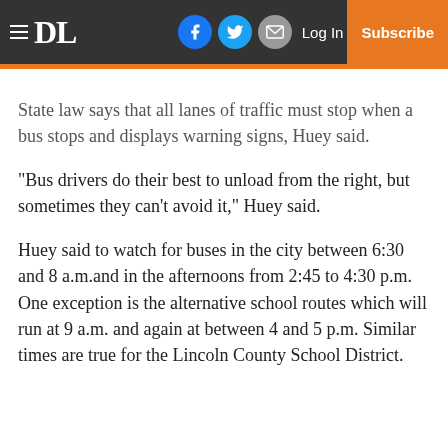DL | Log In | Subscribe
State law says that all lanes of traffic must stop when a bus stops and displays warning signs, Huey said.
“Bus drivers do their best to unload from the right, but sometimes they can’t avoid it,” Huey said.
Huey said to watch for buses in the city between 6:30 and 8 a.m.and in the afternoons from 2:45 to 4:30 p.m. One exception is the alternative school routes which will run at 9 a.m. and again at between 4 and 5 p.m. Similar times are true for the Lincoln County School District.